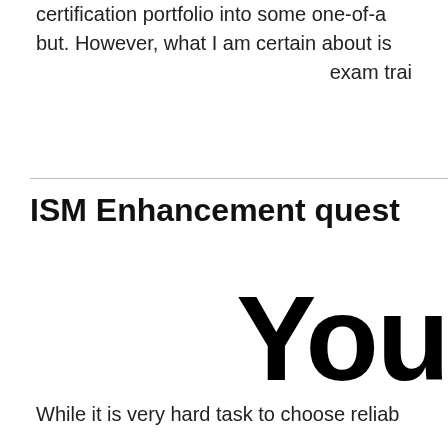certification portfolio into some one-of-a but. However, what I am certain about is exam trai
ISM Enhancement quest
[Figure (logo): YouTube logo partial text showing 'You' in large bold black font]
While it is very hard task to choose reliab